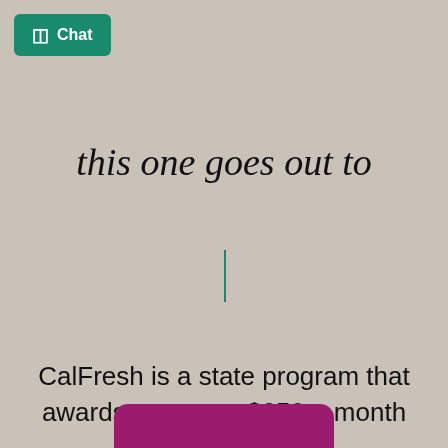[Figure (screenshot): Green chat button with chat icon in top left corner]
this one goes out to
[Figure (other): Teal vertical cursor line]
CalFresh is a state program that awards you up to $250 a month for groceries.
[Figure (other): Magenta/pink rounded button at bottom of page (partially visible)]